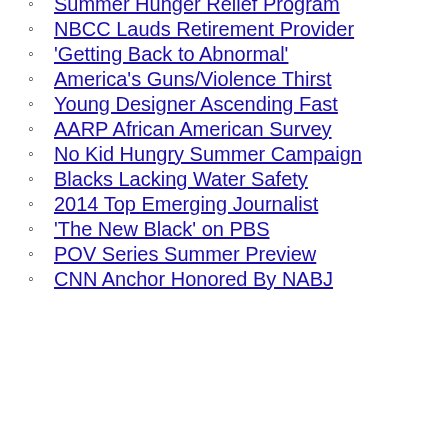Summer Hunger Relief Program
NBCC Lauds Retirement Provider
'Getting Back to Abnormal'
America's Guns/Violence Thirst
Young Designer Ascending Fast
AARP African American Survey
No Kid Hungry Summer Campaign
Blacks Lacking Water Safety
2014 Top Emerging Journalist
'The New Black' on PBS
POV Series Summer Preview
CNN Anchor Honored By NABJ